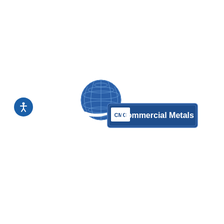[Figure (logo): CMC Commercial Metals logo featuring a blue globe with grid lines above a blue rectangular banner containing 'CMC' in white and 'Commercial Metals' in white text, with a white curved ribbon element]
[Figure (other): Accessibility icon — white stick figure person on a blue circle background]